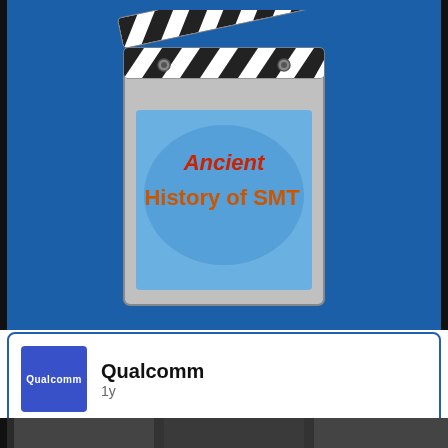[Figure (illustration): Clapperboard image with text 'Ancient History of SMT' in red/orange on a blue background screen, set against a blue banner background.]
[Figure (logo): Qualcomm logo — blue square with white 'Qualcomm' text]
Qualcomm
1y
Thanks to the equipment we provided with Microsoft, Qualcomm Small Business Accelerator Program participant NPI Materials, Inc. unlocked brand new ways to improve processes, operations, efficiency, and Covid-19 safety measures. We're so happy we could help, and looking forward to seeing what NPI does next.